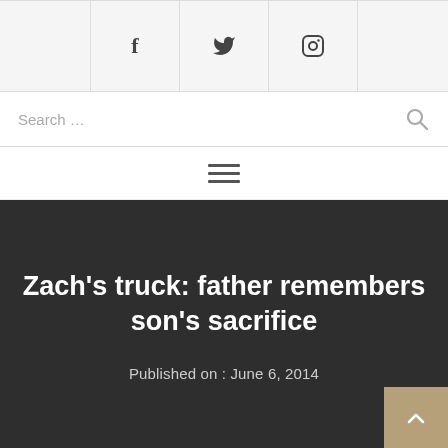Social icons: Facebook, Twitter, Instagram
Search ...
[Figure (other): Hamburger menu icon with three horizontal lines]
Zach’s truck: father remembers son’s sacrifice
Published on : June 6, 2014